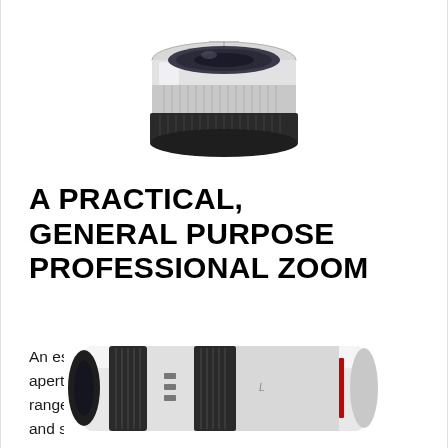[Figure (photo): Top portion of a white camera lens (wide-angle) showing the front element and lens mount from above against a white background]
A PRACTICAL, GENERAL PURPOSE PROFESSIONAL ZOOM
An essential workhorse lens, with a constant F2.8 aperture right across its 70-200mm focal length range, this zoom is perfect for travel, wildlife, news and sport.
[Figure (photo): Bottom portion of a white telephoto zoom lens (70-200mm) showing the body with black grip rings and a red accent stripe, viewed from the side]